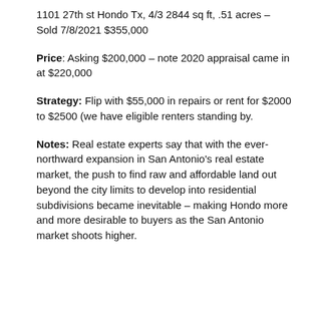1101 27th st Hondo Tx, 4/3 2844 sq ft, .51 acres – Sold 7/8/2021 $355,000
Price: Asking $200,000 – note 2020 appraisal came in at $220,000
Strategy: Flip with $55,000 in repairs or rent for $2000 to $2500 (we have eligible renters standing by.
Notes: Real estate experts say that with the ever-northward expansion in San Antonio's real estate market, the push to find raw and affordable land out beyond the city limits to develop into residential subdivisions became inevitable – making Hondo more and more desirable to buyers as the San Antonio market shoots higher.